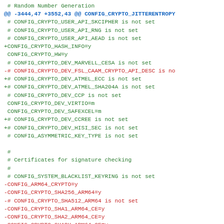# Random Number Generation
@@ -3444,47 +3552,43 @@ CONFIG_CRYPTO_JITTERENTROPY
 # CONFIG_CRYPTO_USER_API_SKCIPHER is not set
 # CONFIG_CRYPTO_USER_API_RNG is not set
 # CONFIG_CRYPTO_USER_API_AEAD is not set
+CONFIG_CRYPTO_HASH_INFO=y
 CONFIG_CRYPTO_HW=y
 # CONFIG_CRYPTO_DEV_MARVELL_CESA is not set
-# CONFIG_CRYPTO_DEV_FSL_CAAM_CRYPTO_API_DESC is no
+# CONFIG_CRYPTO_DEV_ATMEL_ECC is not set
+# CONFIG_CRYPTO_DEV_ATMEL_SHA204A is not set
 # CONFIG_CRYPTO_DEV_CCP is not set
 CONFIG_CRYPTO_DEV_VIRTIO=m
 CONFIG_CRYPTO_DEV_SAFEXCEL=m
+# CONFIG_CRYPTO_DEV_CCREE is not set
+# CONFIG_CRYPTO_DEV_HISI_SEC is not set
 # CONFIG_ASYMMETRIC_KEY_TYPE is not set

 #
 # Certificates for signature checking
 #
 # CONFIG_SYSTEM_BLACKLIST_KEYRING is not set
-CONFIG_ARM64_CRYPTO=y
-CONFIG_CRYPTO_SHA256_ARM64=y
-# CONFIG_CRYPTO_SHA512_ARM64 is not set
-CONFIG_CRYPTO_SHA1_ARM64_CE=y
-CONFIG_CRYPTO_SHA2_ARM64_CE=y
-CONFIG_CRYPTO_GHASH_ARM64_CE=y
-# CONFIG_CRYPTO_CRC32_ARM64_CE is not set
-CONFIG_CRYPTO_AES_ARM64=y